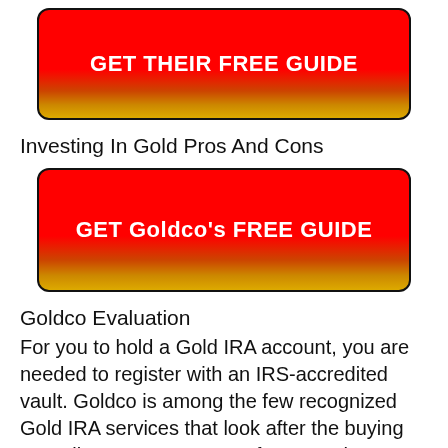[Figure (other): Red to gold gradient button with text GET THEIR FREE GUIDE]
Investing In Gold Pros And Cons
[Figure (other): Red to gold gradient button with text GET Goldco's FREE GUIDE]
Goldco Evaluation
For you to hold a Gold IRA account, you are needed to register with an IRS-accredited vault. Goldco is among the few recognized Gold IRA services that look after the buying as well as storage space of rare-earth elements.